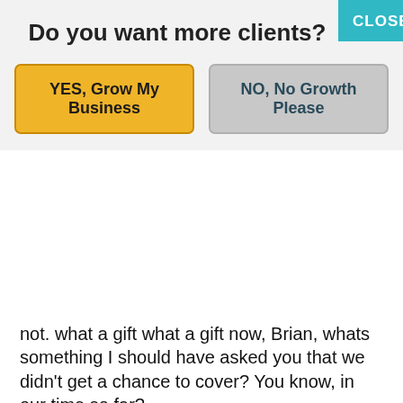Do you want more clients?
YES, Grow My Business
NO, No Growth Please
not. what a gift what a gift now, Brian, whats something I should have asked you that we didn't get a chance to cover? You know, in our time so far?
Brian Bogaert 29:18
Well, you know, it's interesting, I bring this up because usually people they want to dive into the like, you know, what should I do around the mark tactics? Yeah, sort of stuff. Right. Yeah, exactly. Right. And as you can see, I'm much more than that. But I do love the tactics